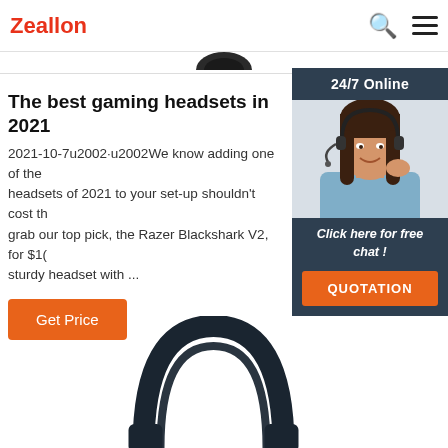Zeallon
The best gaming headsets in 2021
2021-10-7u2002·u2002We know adding one of the headsets of 2021 to your set-up shouldn't cost th grab our top pick, the Razer Blackshark V2, for $1( sturdy headset with ...
Get Price
[Figure (photo): Customer service representative with headset, 24/7 Online widget with 'Click here for free chat!' and QUOTATION button]
[Figure (photo): Gaming headset headband partial view at bottom of page]